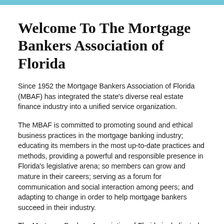Welcome To The Mortgage Bankers Association of Florida
Since 1952 the Mortgage Bankers Association of Florida (MBAF) has integrated the state's diverse real estate finance industry into a unified service organization.
The MBAF is committed to promoting sound and ethical business practices in the mortgage banking industry; educating its members in the most up-to-date practices and methods, providing a powerful and responsible presence in Florida's legislative arena; so members can grow and mature in their careers; serving as a forum for communication and social interaction among peers; and adapting to change in order to help mortgage bankers succeed in their industry.
The Mortgage Bankers Association of Florida is dedicated to the preservation and improvement of the Mortgage Banking Industry through a cooperative relationship with Federal and...